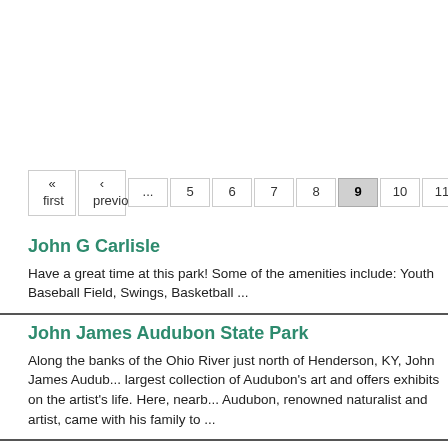« first ‹ previous ... 5 6 7 8 9 10 11 12
John G Carlisle
Have a great time at this park! Some of the amenities include: Youth Baseball Field, Swings, Basketball ...
John James Audubon State Park
Along the banks of the Ohio River just north of Henderson, KY, John James Audubon State Park houses the world's largest collection of Audubon's art and offers exhibits on the artist's life. Here, nearby Henderson, John James Audubon, renowned naturalist and artist, came with his family to ...
Johnson Heights Park
Have a great time at this park! Some of the amenities include: baseball, softball, ...